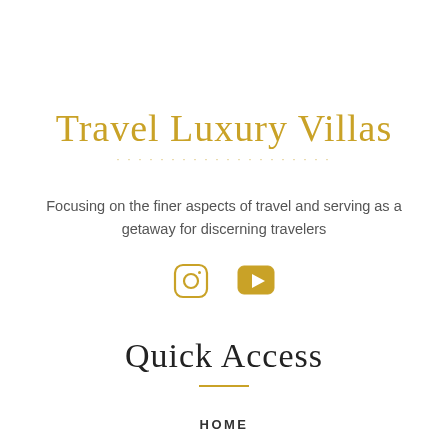Travel Luxury Villas
Focusing on the finer aspects of travel and serving as a getaway for discerning travelers
[Figure (illustration): Instagram and YouTube social media icons in gold/amber color]
Quick Access
HOME
ABOUT
CONTACT